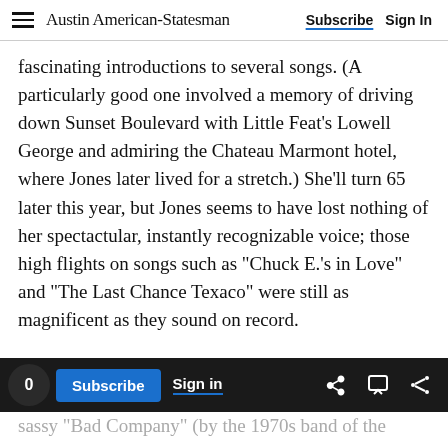Austin American-Statesman | Subscribe | Sign In
fascinating introductions to several songs. (A particularly good one involved a memory of driving down Sunset Boulevard with Little Feat’s Lowell George and admiring the Chateau Marmont hotel, where Jones later lived for a stretch.) She’ll turn 65 later this year, but Jones seems to have lost nothing of her spectactular, instantly recognizable voice; those high flights on songs such as “Chuck E.’s in Love” and “The Last Chance Texaco” were still as magnificent as they sound on record.
The crowd also embraced the material she played